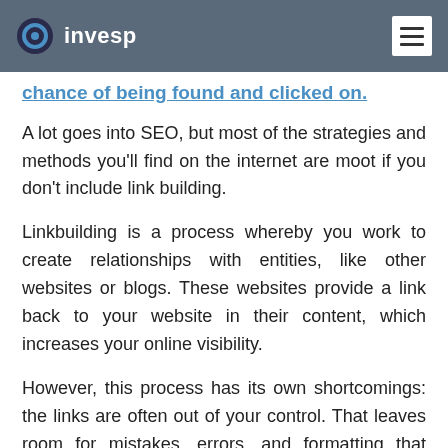invesp
chance of being found and clicked on.
A lot goes into SEO, but most of the strategies and methods you'll find on the internet are moot if you don't include link building.
Linkbuilding is a process whereby you work to create relationships with entities, like other websites or blogs. These websites provide a link back to your website in their content, which increases your online visibility.
However, this process has its own shortcomings: the links are often out of your control. That leaves room for mistakes, errors, and formatting that might not